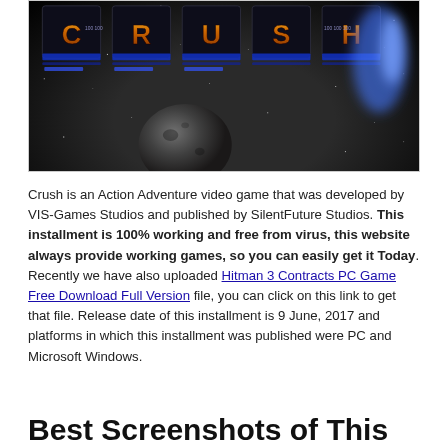[Figure (screenshot): Screenshot of the video game 'Crush' showing the game title in hexagonal blocks over a dark space background with an asteroid and blue energy effects]
Crush is an Action Adventure video game that was developed by VIS-Games Studios and published by SilentFuture Studios. This installment is 100% working and free from virus, this website always provide working games, so you can easily get it Today. Recently we have also uploaded Hitman 3 Contracts PC Game Free Download Full Version file, you can click on this link to get that file. Release date of this installment is 9 June, 2017 and platforms in which this installment was published were PC and Microsoft Windows.
Best Screenshots of This